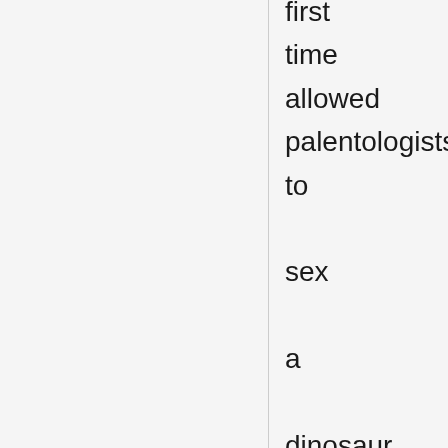first time allowed palentologists to sex a dinosaur. When laying eggs, female birds have a special